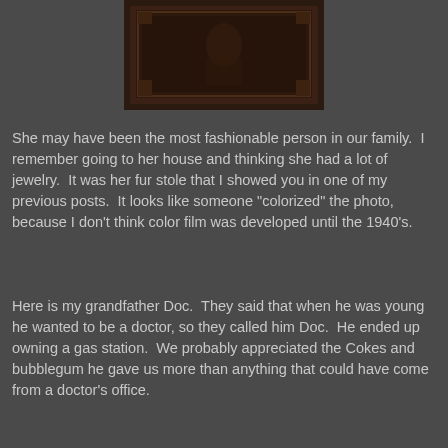[Figure (photo): A dark brownish framed vintage portrait photograph, partially visible at the top of the page, with a decorative border frame]
She may have been the most fashionable person in our family.  I remember going to her house and thinking she had a lot of jewelry.  It was her fur stole that I showed you in one of my previous posts.  It looks like someone "colorized" the photo, because I don't think color film was developed until the 1940's.
Here is my grandfather Doc.  They said that when he was young he wanted to be a doctor, so they called him Doc.  He ended up owning a gas station.  We probably appreciated the Cokes and bubblegum he gave us more than anything that could have come from a doctor's office.